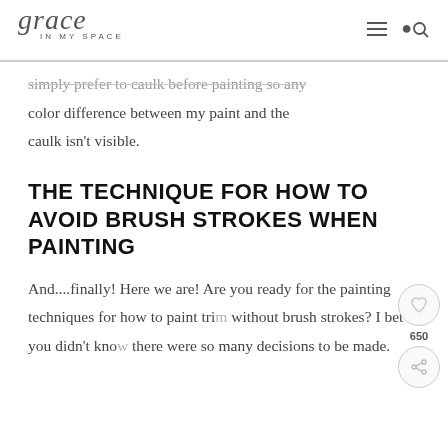grace IN MY SPACE
simply prefer to caulk before painting so any color difference between my paint and the caulk isn't visible.
THE TECHNIQUE FOR HOW TO AVOID BRUSH STROKES WHEN PAINTING
And....finally! Here we are! Are you ready for the painting techniques for how to paint trim without brush strokes? I bet you didn't know there were so many decisions to be made.